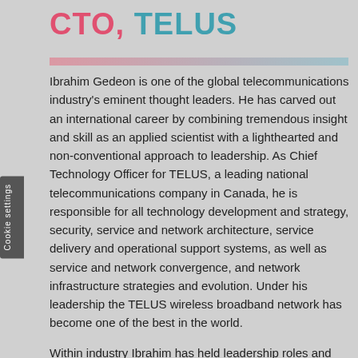CTO, TELUS
Ibrahim Gedeon is one of the global telecommunications industry's eminent thought leaders. He has carved out an international career by combining tremendous insight and skill as an applied scientist with a lighthearted and non-conventional approach to leadership. As Chief Technology Officer for TELUS, a leading national telecommunications company in Canada, he is responsible for all technology development and strategy, security, service and network architecture, service delivery and operational support systems, as well as service and network convergence, and network infrastructure strategies and evolution. Under his leadership the TELUS wireless broadband network has become one of the best in the world.
Within industry Ibrahim has held leadership roles and chaired many events in the IEEE and received the IEEE Canada's Outstanding Canadian Engineer Award in 2001. He serves on the board of the Next Generation Mobile Networks Alliance, the Alliance for